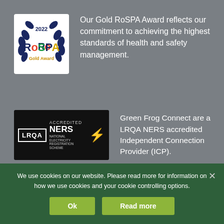[Figure (logo): RoSPA Gold Award 2022 badge - white background with dark blue laurel wreath design and gold text]
Our Gold RoSPA Award reflects our commitment to achieving the highest standards of health and safety management.
[Figure (logo): LRQA NERS Accredited - National Electricity Registration Scheme black badge with lightning bolt]
Green Frog Connect are a LRQA NERS accredited Independent Connection Provider (ICP).
[Figure (logo): Partial certificate badge - white background with circular logo]
Certificate Number 14330
We use cookies on our website. Please read more for information on how we use cookies and your cookie controlling options.